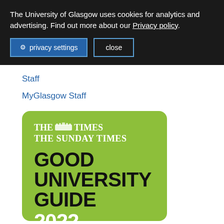The University of Glasgow uses cookies for analytics and advertising. Find out more about our Privacy policy.
privacy settings  close
Staff
MyGlasgow Staff
[Figure (logo): The Times / The Sunday Times Good University Guide 2022 logo on a lime green rounded rectangle background]